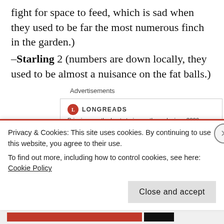fight for space to feed, which is sad when they used to be far the most numerous finch in the garden.)
–Starling 2 (numbers are down locally, they used to be almost a nuisance on the fat balls.)
Advertisements
[Figure (other): Longreads advertisement box with red circle logo and text: Bringing you the best stories on the web since 2009.]
The best bit of bird watching is the day came
Privacy & Cookies: This site uses cookies. By continuing to use this website, you agree to their use.
To find out more, including how to control cookies, see here: Cookie Policy
Close and accept